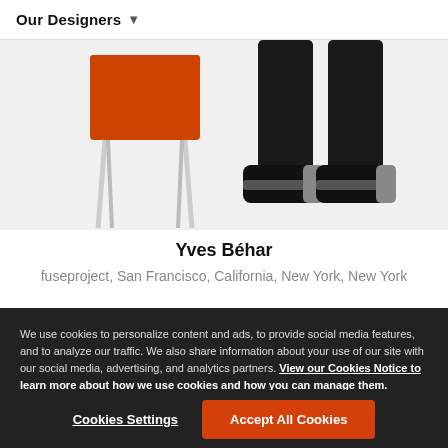Our Designers ▾
[Figure (photo): Product photo of an orange chair with metal legs on left, and a person's feet/legs in black pants and sneakers on right, on a white background]
Yves Béhar
fuseproject, San Francisco, California, New York, New York
We use cookies to personalize content and ads, to provide social media features, and to analyze our traffic. We also share information about your use of our site with our social media, advertising, and analytics partners. View our Cookies Notice to learn more about how we use cookies and how you can manage them.
Cookies Settings
Accept All Cookies